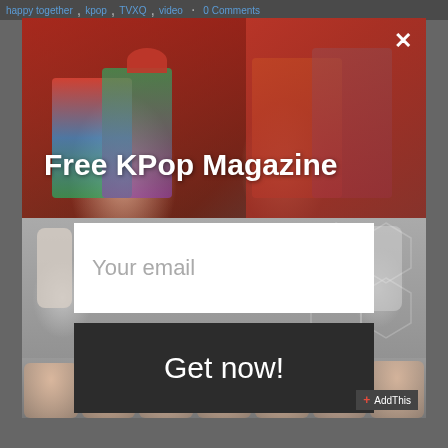happy together, kpop, TVXQ, video · 0 Comments
[Figure (screenshot): Modal popup overlay for a KPop magazine email subscription. Top section shows KPop girl group photo with red background. Middle section shows a group of young men in white outfits against a geometric hexagon background. Bottom section shows a girl group with smiling women. Contains email input field and 'Get now!' button.]
Free KPop Magazine
Your email
Get now!
AddThis